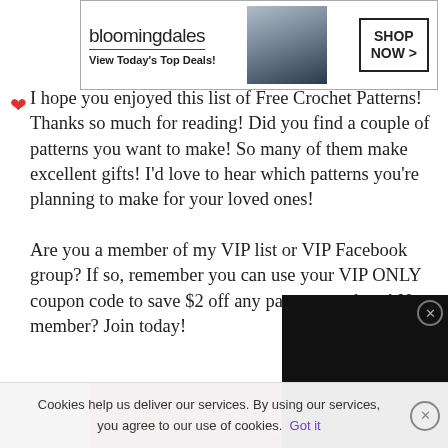[Figure (screenshot): Bloomingdale's advertisement banner: logo, 'View Today's Top Deals!', model with hat image, SHOP NOW button]
I hope you enjoyed this list of Free Crochet Patterns! Thanks so much for reading! Did you find a couple of patterns you want to make! So many of them make excellent gifts! I’d love to hear which patterns you’re planning to make for your loved ones!
Are you a member of my VIP list or VIP Facebook group? If so, remember you can use your VIP ONLY coupon code to save $2 off any pattern purchase! Not a member? Join today!
[Figure (screenshot): Dark popup/video overlay panel with close X button and CLOSE button]
[Figure (screenshot): Victoria's Secret advertisement: VS logo, SHOP THE COLLECTION, SHOP NOW button]
Cookies help us deliver our services. By using our services, you agree to our use of cookies. Got it